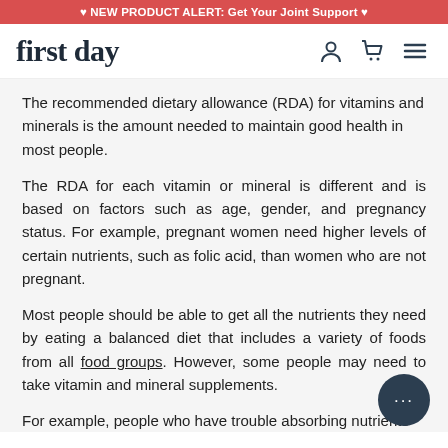♥ NEW PRODUCT ALERT: Get Your Joint Support ♥
[Figure (logo): first day logo with navigation icons (person, cart, menu)]
The recommended dietary allowance (RDA) for vitamins and minerals is the amount needed to maintain good health in most people.
The RDA for each vitamin or mineral is different and is based on factors such as age, gender, and pregnancy status. For example, pregnant women need higher levels of certain nutrients, such as folic acid, than women who are not pregnant.
Most people should be able to get all the nutrients they need by eating a balanced diet that includes a variety of foods from all food groups. However, some people may need to take vitamin and mineral supplements.
For example, people who have trouble absorbing nutrients